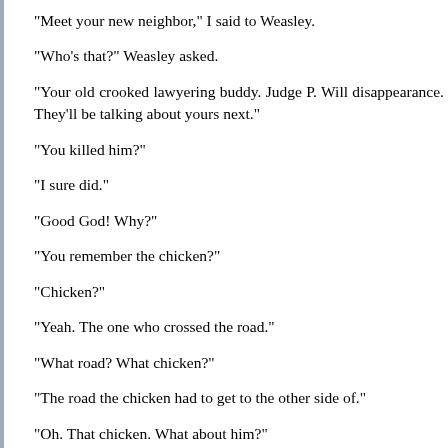"Meet your new neighbor," I said to Weasley.
"Who's that?" Weasley asked.
"Your old crooked lawyering buddy. Judge P. Will disappearance. They'll be talking about yours next."
"You killed him?"
"I sure did."
"Good God! Why?"
"You remember the chicken?"
"Chicken?"
"Yeah. The one who crossed the road."
"What road? What chicken?"
"The road the chicken had to get to the other side of."
"Oh. That chicken. What about him?"